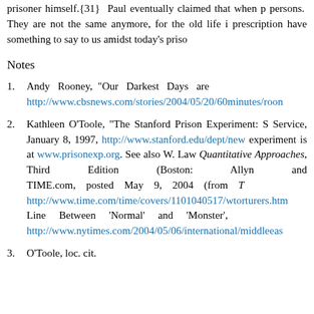prisoner himself.{31} Paul eventually claimed that when p persons. They are not the same anymore, for the old life i prescription have something to say to us amidst today's priso
Notes
1. Andy Rooney, “Our Darkest Days are http://www.cbsnews.com/stories/2004/05/20/60minutes/roon
2. Kathleen O’Toole, “The Stanford Prison Experiment: S Service, January 8, 1997, http://www.stanford.edu/dept/new experiment is at www.prisonexp.org. See also W. Law Quantitative Approaches, Third Edition (Boston: Allyn and TIME.com, posted May 9, 2004 (from T http://www.time.com/time/covers/1101040517/wtorturers.htm Line Between ‘Normal’ and ‘Monster’, http://www.nytimes.com/2004/05/06/international/middleeas
3. O’Toole, loc. cit.